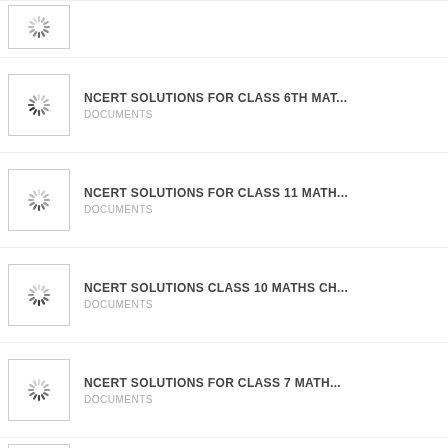[Figure (other): Loading spinner thumbnail - partial view at top]
NCERT SOLUTIONS FOR CLASS 6TH MAT... | DOCUMENTS
NCERT SOLUTIONS FOR CLASS 11 MATH... | DOCUMENTS
NCERT SOLUTIONS CLASS 10 MATHS CH... | DOCUMENTS
NCERT SOLUTIONS FOR CLASS 7 MATH... | DOCUMENTS
NCERT SOLUTIONS MATHS